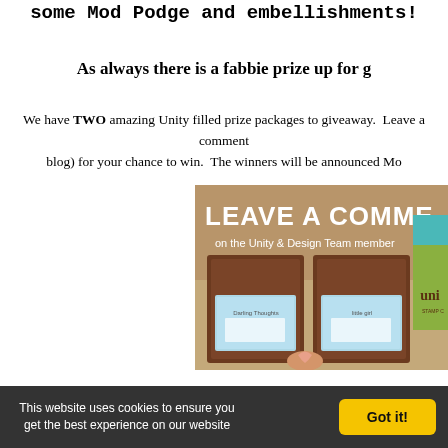some Mod Podge and embellishments!
As always there is a fabbie prize up for g
We have TWO amazing Unity filled prize packages to giveaway. Leave a comment blog) for your chance to win. The winners will be announced Mo
[Figure (photo): Promotional image with text 'LEAVE A COMME on the Unity & Design Team member' with stamp products displayed, including two framed stamp sets and a Unity Stamp Co box.]
Now here's a list of today's team bloggers so make sure you
This website uses cookies to ensure you get the best experience on our website  Got it!